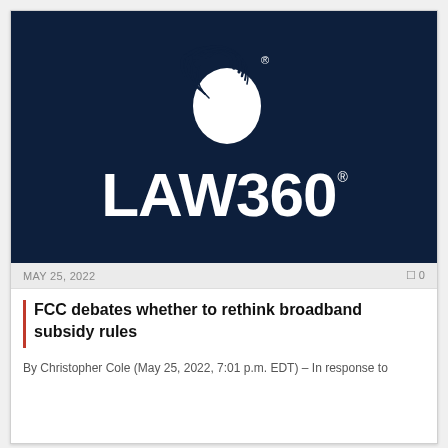[Figure (logo): Law360 logo on dark navy background featuring a stylized globe/circle icon with curved lines above the LAW360 wordmark in white text]
MAY 25, 2022                                 0
FCC debates whether to rethink broadband subsidy rules
By Christopher Cole (May 25, 2022, 7:01 p.m. EDT) – In response to